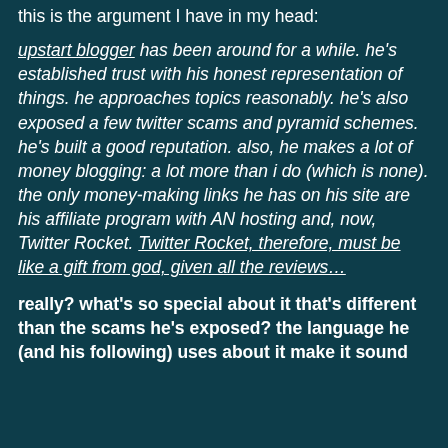this is the argument I have in my head:
upstart blogger has been around for a while. he's established trust with his honest representation of things. he approaches topics reasonably. he's also exposed a few twitter scams and pyramid schemes. he's built a good reputation. also, he makes a lot of money blogging: a lot more than i do (which is none). the only money-making links he has on his site are his affiliate program with AN hosting and, now, Twitter Rocket. Twitter Rocket, therefore, must be like a gift from god, given all the reviews…
really? what's so special about it that's different than the scams he's exposed? the language he (and his following) uses about it make it sound